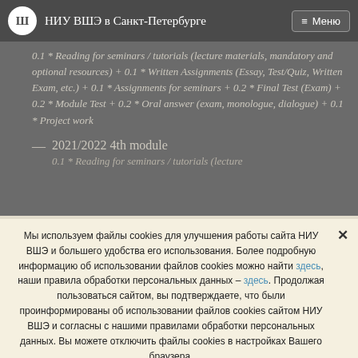НИУ ВШЭ в Санкт-Петербурге
0.1 * Reading for seminars / tutorials (lecture materials, mandatory and optional resources) + 0.1 * Written Assignments (Essay, Test/Quiz, Written Exam, etc.) + 0.1 * Assignments for seminars + 0.2 * Final Test (Exam) + 0.2 * Module Test + 0.2 * Oral answer (exam, monologue, dialogue) + 0.1 * Project work
2021/2022 4th module
0.1 * Reading for seminars / tutorials (lecture
Мы используем файлы cookies для улучшения работы сайта НИУ ВШЭ и большего удобства его использования. Более подробную информацию об использовании файлов cookies можно найти здесь, наши правила обработки персональных данных – здесь. Продолжая пользоваться сайтом, вы подтверждаете, что были проинформированы об использовании файлов cookies сайтом НИУ ВШЭ и согласны с нашими правилами обработки персональных данных. Вы можете отключить файлы cookies в настройках Вашего браузера.